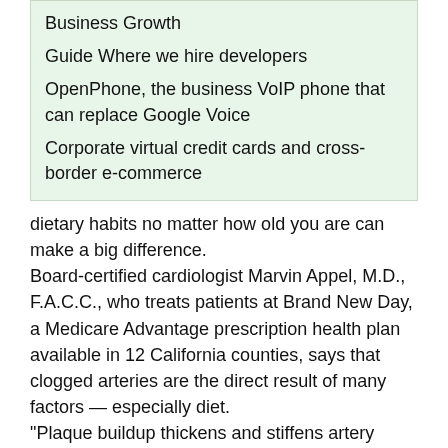Business Growth
Guide Where we hire developers
OpenPhone, the business VoIP phone that can replace Google Voice
Corporate virtual credit cards and cross-border e-commerce
dietary habits no matter how old you are can make a big difference.
Board-certified cardiologist Marvin Appel, M.D., F.A.C.C., who treats patients at Brand New Day, a Medicare Advantage prescription health plan available in 12 California counties, says that clogged arteries are the direct result of many factors — especially diet.
"Plaque buildup thickens and stiffens artery walls and narrows the arteries to inhibit blood flow through your arteries to your organs and tissues — a condition known as atherosclerosis, which is the most common cause of